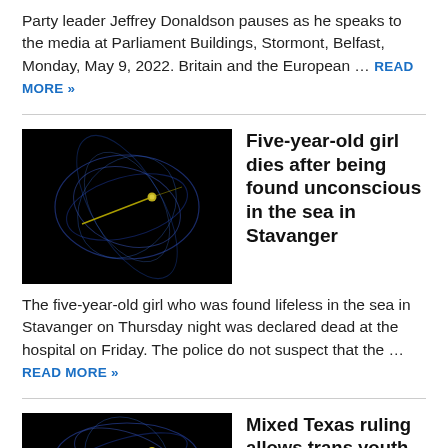Party leader Jeffrey Donaldson pauses as he speaks to the media at Parliament Buildings, Stormont, Belfast, Monday, May 9, 2022. Britain and the European ... READ MORE »
[Figure (photo): Dark background image with blue circular light trails and a yellow dot, resembling a space or particle physics visualization.]
Five-year-old girl dies after being found unconscious in the sea in Stavanger
The five-year-old girl who was found lifeless in the sea in Stavanger on Thursday night was declared dead at the hospital on Friday. The police do not suspect that the ... READ MORE »
[Figure (photo): Dark background image with blue circular light trails and a yellow dot, similar to first image.]
Mixed Texas ruling allows trans youth parent investigations